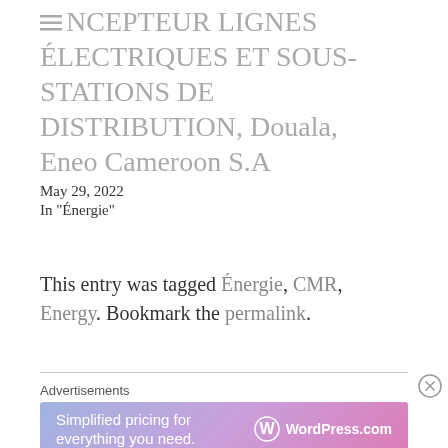CONCEPTEUR LIGNES ÉLECTRIQUES ET SOUS-STATIONS DE DISTRIBUTION, Douala, Eneo Cameroon S.A
May 29, 2022
In "Énergie"
This entry was tagged Énergie, CMR, Energy. Bookmark the permalink.
Advertisements
[Figure (other): WordPress.com advertisement banner with gradient background (blue to pink/purple) showing 'Simplified pricing for everything you need.' with WordPress.com logo]